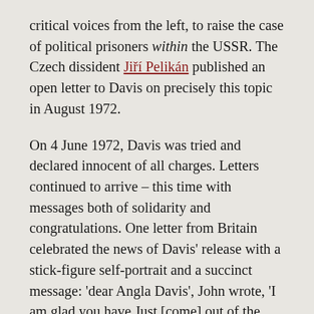critical voices from the left, to raise the case of political prisoners within the USSR. The Czech dissident Jiří Pelikán published an open letter to Davis on precisely this topic in August 1972.
On 4 June 1972, Davis was tried and declared innocent of all charges. Letters continued to arrive – this time with messages both of solidarity and congratulations. One letter from Britain celebrated the news of Davis' release with a stick-figure self-portrait and a succinct message: 'dear Angla Davis', John wrote, 'I am glad you have Just [come] out of the nick.'
Now recognised as a civil rights icon, Davis advocates an internationalist and intersectional feminism that is avowedly anti-racist, anti-carceral and trans-inclusive. The movement she helped build in the 1970s recognised that her case was not simply about freeing